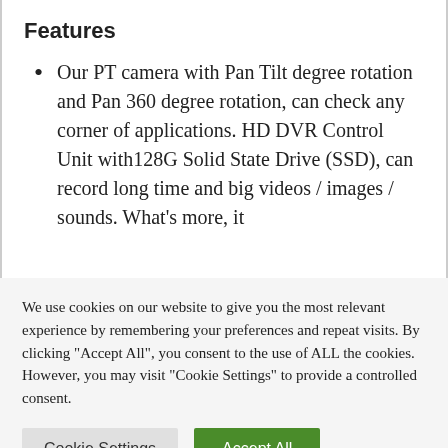Features
Our PT camera with Pan Tilt degree rotation and Pan 360 degree rotation, can check any corner of applications. HD DVR Control Unit with128G Solid State Drive (SSD), can record long time and big videos / images / sounds. What's more, it
We use cookies on our website to give you the most relevant experience by remembering your preferences and repeat visits. By clicking "Accept All", you consent to the use of ALL the cookies. However, you may visit "Cookie Settings" to provide a controlled consent.